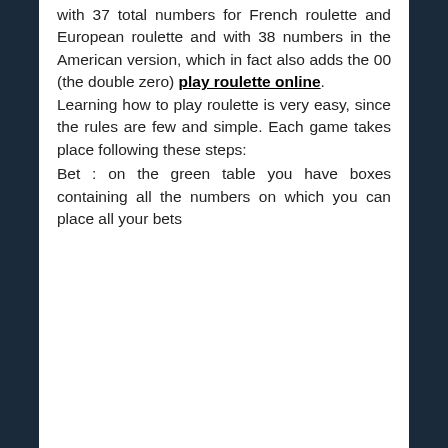with 37 total numbers for French roulette and European roulette and with 38 numbers in the American version, which in fact also adds the 00 (the double zero) play roulette online. Learning how to play roulette is very easy, since the rules are few and simple. Each game takes place following these steps:
Bet : on the green table you have boxes containing all the numbers on which you can place all your bets
Ball launch : a ball is thrown onto the wheel and turns until it stops on a number.